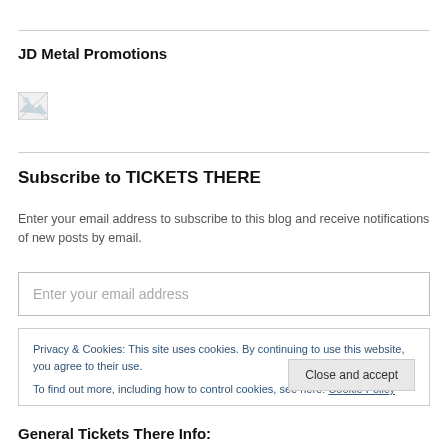JD Metal Promotions
[Figure (photo): Small broken/placeholder image icon]
Subscribe to TICKETS THERE
Enter your email address to subscribe to this blog and receive notifications of new posts by email.
Enter your email address
Privacy & Cookies: This site uses cookies. By continuing to use this website, you agree to their use.
To find out more, including how to control cookies, see here: Cookie Policy
Close and accept
General Tickets There Info: